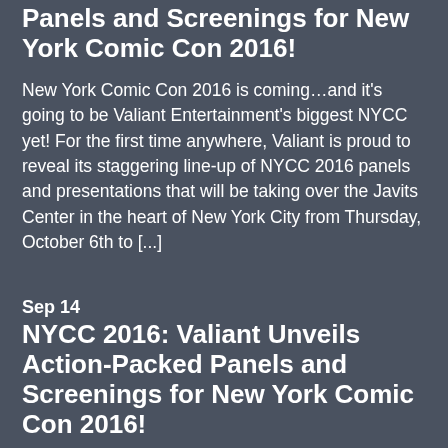NYCC 2016: Valiant Unveils Action-Packed Panels and Screenings for New York Comic Con 2016!
New York Comic Con 2016 is coming…and it's going to be Valiant Entertainment's biggest NYCC yet! For the first time anywhere, Valiant is proud to reveal its staggering line-up of NYCC 2016 panels and presentations that will be taking over the Javits Center in the heart of New York City from Thursday, October 6th to [...]
Sep 14
NYCC 2016: Valiant Unveils Action-Packed Panels and Screenings for New York Comic Con 2016!
New York Comic Con 2016 is coming…and it's going to be Valiant Entertainment's biggest NYCC yet! For the first time anywhere, Valiant is proud to reveal its staggering line-up of NYCC 2016 panels and presentations that will be taking